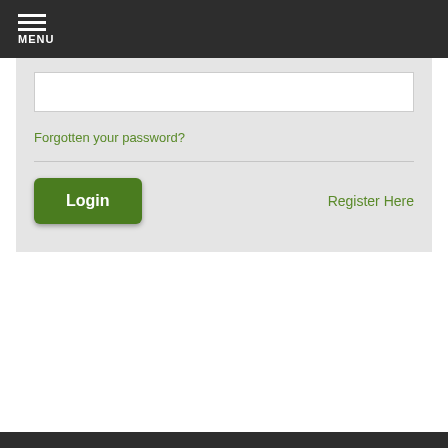MENU
[Figure (screenshot): A white input field (password field) with grey border on a light grey form background]
Forgotten your password?
Login
Register Here